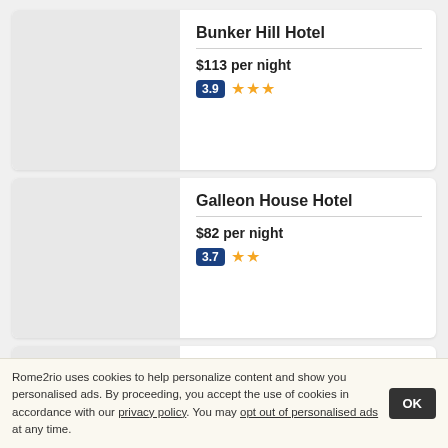Bunker Hill Hotel
$113 per night
3.9 ★★★
Galleon House Hotel
$82 per night
3.7 ★★
Windward Passage Hotel
Rome2rio uses cookies to help personalize content and show you personalised ads. By proceeding, you accept the use of cookies in accordance with our privacy policy. You may opt out of personalised ads at any time.